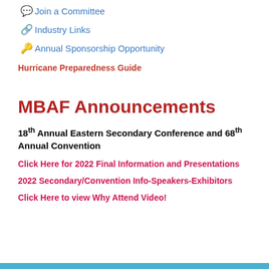Join a Committee
Industry Links
Annual Sponsorship Opportunity
Hurricane Preparedness Guide
MBAF Announcements
18th Annual Eastern Secondary Conference and 68th Annual Convention
Click Here for 2022 Final Information and Presentations
2022 Secondary/Convention Info-Speakers-Exhibitors
Click Here to view Why Attend Video!